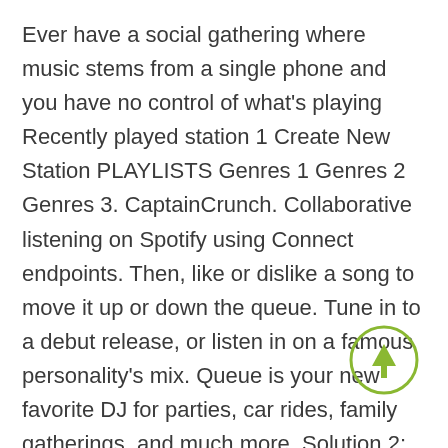Ever have a social gathering where music stems from a single phone and you have no control of what's playing Recently played station 1 Create New Station PLAYLISTS Genres 1 Genres 2 Genres 3. CaptainCrunch. Collaborative listening on Spotify using Connect endpoints. Then, like or dislike a song to move it up or down the queue. Tune in to a debut release, or listen in on a famous personality's mix. Queue is your new favorite DJ for parties, car rides, family gatherings, and much more. Solution 2: Make and Share Spotify Collaborative Playlist on Android. Before downloading Shared Queue Spotify Videos, you can preview it by mouse over the PLAY VIDEO button and click Play or Click DOWNLOAD
[Figure (other): A circular button with a green outline and an upward-pointing arrow in the center, functioning as a scroll-to-top or submit button.]